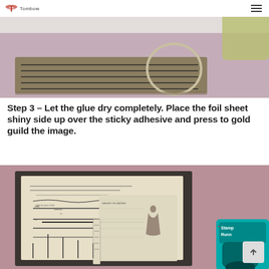Tombow
[Figure (photo): Photo showing a rectangular cardboard or chipboard piece with parallel horizontal lines ruled on it, and a ring/hoop on top, placed on a mauve/pink surface. White ribbon or string visible in the background top area.]
Step 3 – Let the glue dry completely. Place the foil sheet shiny side up over the sticky adhesive and press to gold guild the image.
[Figure (photo): Photo showing vintage sewing pattern sheets with handwritten notes and printed diagrams, placed on a pink/mauve surface. A teal/turquoise Tombow Stamp Runner adhesive dispenser is visible in the bottom right corner.]